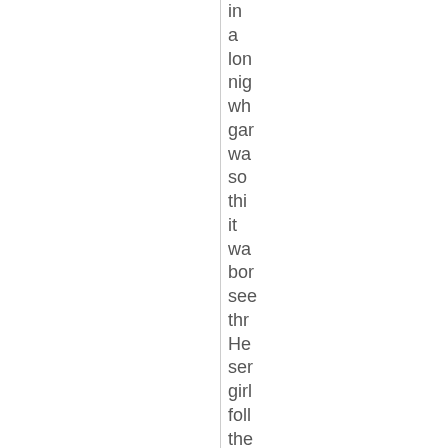in a lon nig wh gar wa so thi it wa bor see thr He ser girl foll the wo of the ma to